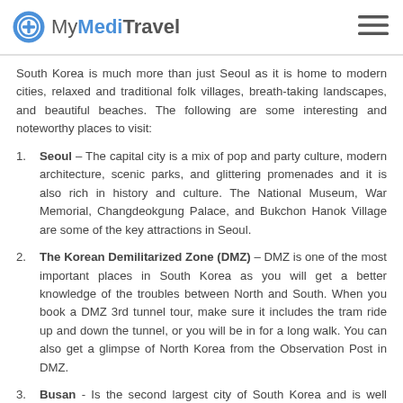MyMediTravel
South Korea is much more than just Seoul as it is home to modern cities, relaxed and traditional folk villages, breath-taking landscapes, and beautiful beaches. The following are some interesting and noteworthy places to visit:
Seoul – The capital city is a mix of pop and party culture, modern architecture, scenic parks, and glittering promenades and it is also rich in history and culture. The National Museum, War Memorial, Changdeokgung Palace, and Bukchon Hanok Village are some of the key attractions in Seoul.
The Korean Demilitarized Zone (DMZ) – DMZ is one of the most important places in South Korea as you will get a better knowledge of the troubles between North and South. When you book a DMZ 3rd tunnel tour, make sure it includes the tram ride up and down the tunnel, or you will be in for a long walk. You can also get a glimpse of North Korea from the Observation Post in DMZ.
Busan - Is the second largest city of South Korea and is well known for hosting Asia's biggest international film festival. It is also recognised for the ulsan sea visiting area in...